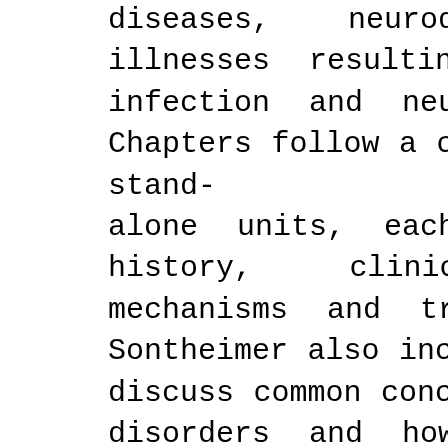diseases, neurodevelopmental illnesses, illnesses resulting from nervous system infection and neuropsychiatric conditions. Chapters follow a common format and are stand-alone units, each covering disease history, clinical presentation, disease mechanisms and treatment protocols. Dr. Sontheimer also includes two chapters which discuss common concepts shared among the disorders and how new findings are being translated from the bench to the bedside. In a final chapter, he explains the most commonly used neuroscience jargon. The chapters address controversial issues in current day neuroscience research including translational research, drug discovery, ethical issues, and the promises of personalized medicine. This new edition features new chapters on Pain and Addiction to highlight the growing opioid crisis